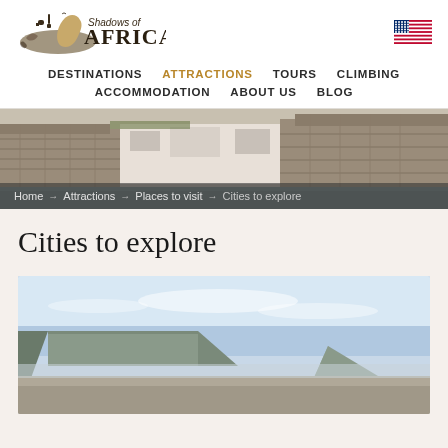[Figure (logo): Shadows of Africa logo with silhouette of African continent and animals]
[Figure (other): US flag icon in top right corner]
DESTINATIONS  ATTRACTIONS  TOURS  CLIMBING  ACCOMMODATION  ABOUT US  BLOG
[Figure (photo): Stone Town Zanzibar historic stone fort/building with coastal walls]
Home → Attractions → Places to visit → Cities to explore
Cities to explore
[Figure (photo): Cape Town South Africa with Table Mountain visible in background, scenic landscape photo]